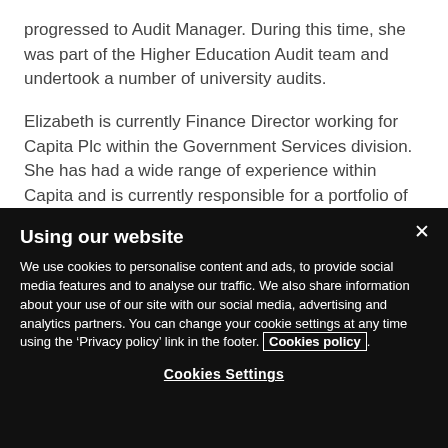progressed to Audit Manager. During this time, she was part of the Higher Education Audit team and undertook a number of university audits.
Elizabeth is currently Finance Director working for Capita Plc within the Government Services division. She has had a wide range of experience within Capita and is currently responsible for a portfolio of
Using our website
We use cookies to personalise content and ads, to provide social media features and to analyse our traffic. We also share information about your use of our site with our social media, advertising and analytics partners. You can change your cookie settings at any time using the ‘Privacy policy’ link in the footer. Cookies policy.
Cookies Settings